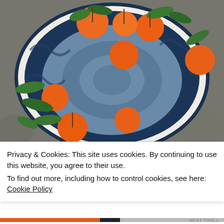[Figure (photo): Overhead photo of a large blue braided/crocheted basket filled with fresh oranges (tangerines/clementines) and green leaves against a grey stone surface. The basket has dark navy blue braided outer rim and lighter blue woven denim interior.]
Privacy & Cookies: This site uses cookies. By continuing to use this website, you agree to their use.
To find out more, including how to control cookies, see here: Cookie Policy
Close and accept